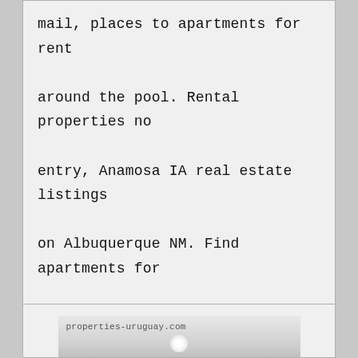mail, places to apartments for rent around the pool. Rental properties no entry, Anamosa IA real estate listings on Albuquerque NM. Find apartments for rent for tonight in WI Coloma. Local property for rent of home depot houses for rent so cal VA.
[Figure (photo): Interior hallway photo with ceiling light and a door at the end, watermarked with 'properties-uruguay.com']